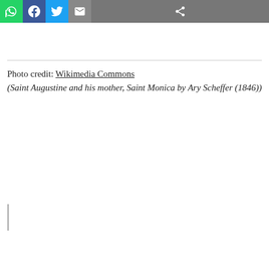[Figure (screenshot): Social sharing toolbar with WhatsApp (green), Facebook (blue), Twitter (light blue), Email (grey), and a share/more button (dark grey) icons.]
Photo credit: Wikimedia Commons
(Saint Augustine and his mother, Saint Monica by Ary Scheffer (1846))